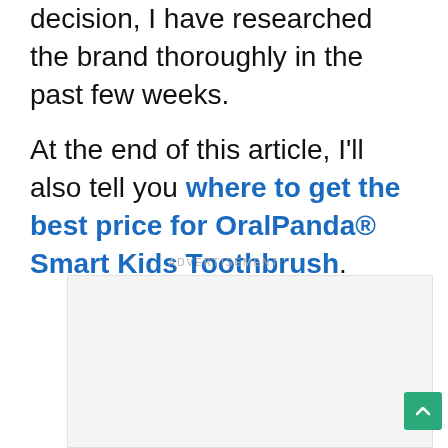decision, I have researched the brand thoroughly in the past few weeks.
At the end of this article, I'll also tell you where to get the best price for OralPanda® Smart Kids Toothbrush.
ADVERTISEMENT
[Figure (other): Advertisement placeholder box (light gray rectangle)]